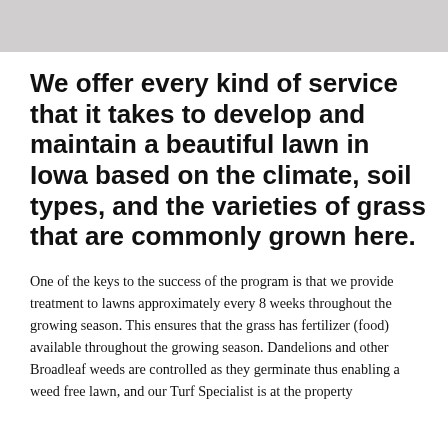[Figure (photo): Gray photographic image strip at the top of the page]
We offer every kind of service that it takes to develop and maintain a beautiful lawn in Iowa based on the climate, soil types, and the varieties of grass that are commonly grown here.
One of the keys to the success of the program is that we provide treatment to lawns approximately every 8 weeks throughout the growing season. This ensures that the grass has fertilizer (food) available throughout the growing season. Dandelions and other Broadleaf weeds are controlled as they germinate thus enabling a weed free lawn, and our Turf Specialist is at the property